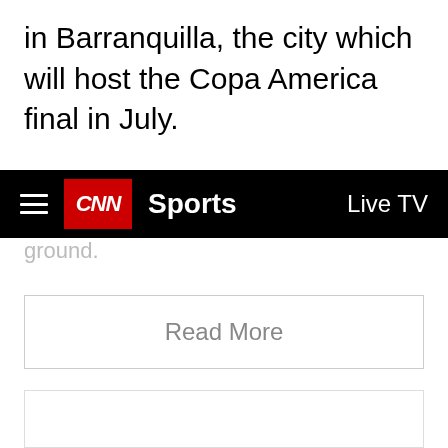in Barranquilla, the city which will host the Copa America final in July.
CNN Sports  Live TV
ground.
Read More